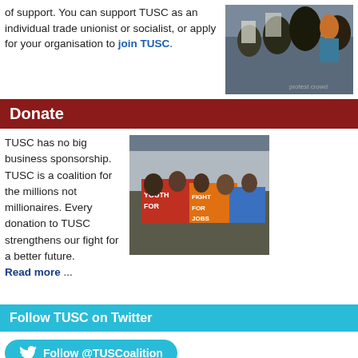of support. You can support TUSC as an individual trade unionist or socialist, or apply for your organisation to join TUSC.
[Figure (photo): Crowd of protesters at a rally, people raising their fists and holding signs]
Donate
TUSC has no big business sponsorship. TUSC is a coalition for the millions not millionaires. Every donation to TUSC strengthens our fight for a better future. Read more ...
[Figure (photo): Young protesters holding colourful banners reading YOUTH FOR JOBS and FIGHT FOR JOBS]
Follow TUSC on Twitter
Follow @TUSCoalition